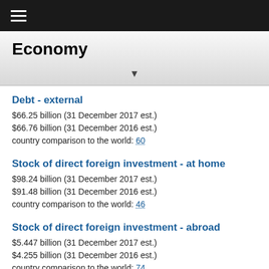≡
Economy
Debt - external
$66.25 billion (31 December 2017 est.)
$66.76 billion (31 December 2016 est.)
country comparison to the world: 60
Stock of direct foreign investment - at home
$98.24 billion (31 December 2017 est.)
$91.48 billion (31 December 2016 est.)
country comparison to the world: 46
Stock of direct foreign investment - abroad
$5.447 billion (31 December 2017 est.)
$4.255 billion (31 December 2016 est.)
country comparison to the world: 74
Exchange rates
nuevo sol (PEN) per US dollar -
3.265 (2017 est.)